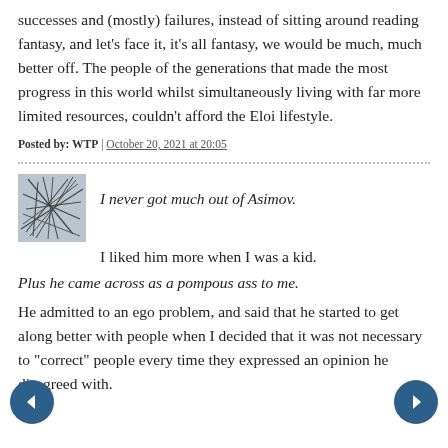successes and (mostly) failures, instead of sitting around reading fantasy, and let's face it, it's all fantasy, we would be much, much better off. The people of the generations that made the most progress in this world whilst simultaneously living with far more limited resources, couldn't afford the Eloi lifestyle.
Posted by: WTP | October 20, 2021 at 20:05
[Figure (illustration): Avatar image with abstract line drawing on light blue-grey background]
I never got much out of Asimov.
I liked him more when I was a kid.
Plus he came across as a pompous ass to me.
He admitted to an ego problem, and said that he started to get along better with people when I decided that it was not necessary to "correct" people every time they expressed an opinion he disagreed with.